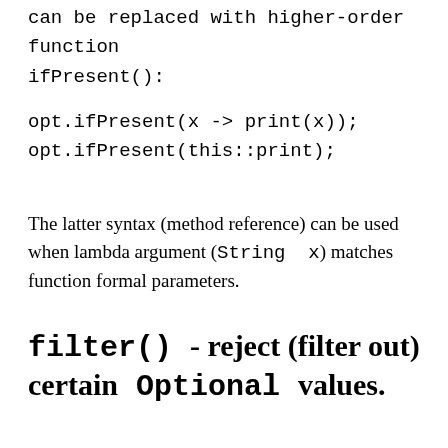can be replaced with higher-order function ifPresent():
opt.ifPresent(x -> print(x));
opt.ifPresent(this::print);
The latter syntax (method reference) can be used when lambda argument (String x) matches function formal parameters.
filter() - reject (filter out) certain Optional values.